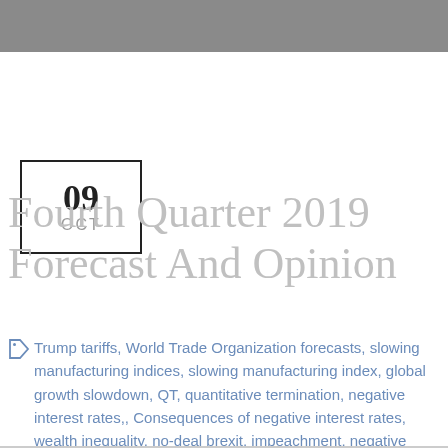09
OCT
Fourth Quarter 2019 Forecast And Opinion
Trump tariffs, World Trade Organization forecasts, slowing manufacturing indices, slowing manufacturing index, global growth slowdown, QT, quantitative termination, negative interest rates,, Consequences of negative interest rates, wealth inequality, no-deal brexit, impeachment, negative interest rates benefiting gold, Fed policy, trade war